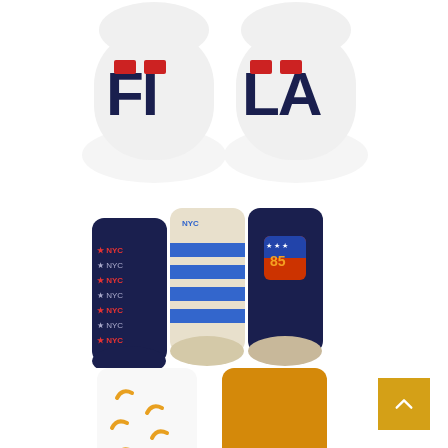[Figure (photo): Two white FILA ankle/no-show socks with large dark navy FILA logo text and red rectangular accent, displayed side by side on white background]
[Figure (photo): Three children's crew socks displayed side by side: left sock is dark navy with red star and NYC text pattern, middle sock is cream/beige with blue stripes, right sock is dark navy with a shield/crest badge showing number 85]
[Figure (photo): Two socks displayed: left sock is white with small banana print pattern, right sock is mustard/golden yellow with dark navy toe accent]